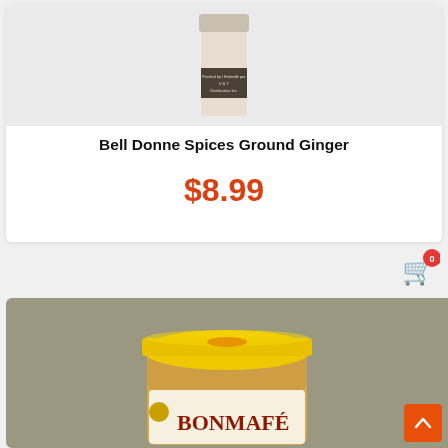[Figure (photo): Top portion of a spice jar (Bell Donne Spices Ground Ginger) on a light gray background, showing the back label with text 'Packed by / Emballé par V&T Distributors Inc.']
Bell Donne Spices Ground Ginger
$8.99
[Figure (photo): A jar of Bonmafe peanut butter with a yellow ridged lid, on a gray background. The jar has a colorful label with 'BONMAFE' text visible at the bottom.]